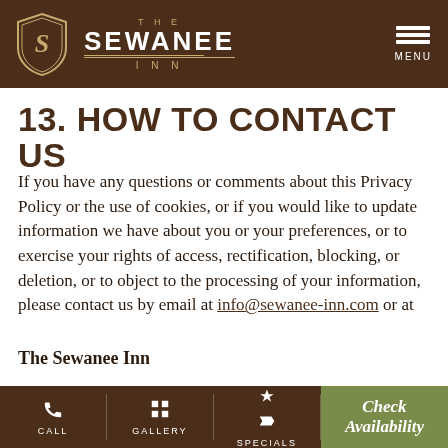[Figure (logo): The Sewanee Inn logo with shield emblem and text]
13. HOW TO CONTACT US
If you have any questions or comments about this Privacy Policy or the use of cookies, or if you would like to update information we have about you or your preferences, or to exercise your rights of access, rectification, blocking, or deletion, or to object to the processing of your information, please contact us by email at info@sewanee-inn.com or at
The Sewanee Inn
1235 University Avenue, Sewanee, TN, 37375
CALL   GALLERY   SPECIALS   Check Availability